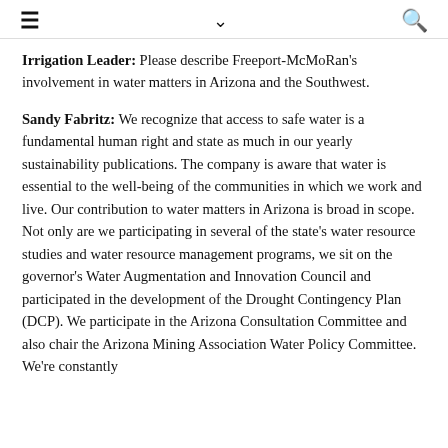≡  ∨  🔍
Irrigation Leader: Please describe Freeport-McMoRan's involvement in water matters in Arizona and the Southwest.
Sandy Fabritz: We recognize that access to safe water is a fundamental human right and state as much in our yearly sustainability publications. The company is aware that water is essential to the well-being of the communities in which we work and live. Our contribution to water matters in Arizona is broad in scope. Not only are we participating in several of the state's water resource studies and water resource management programs, we sit on the governor's Water Augmentation and Innovation Council and participated in the development of the Drought Contingency Plan (DCP). We participate in the Arizona Consultation Committee and also chair the Arizona Mining Association Water Policy Committee. We're constantly